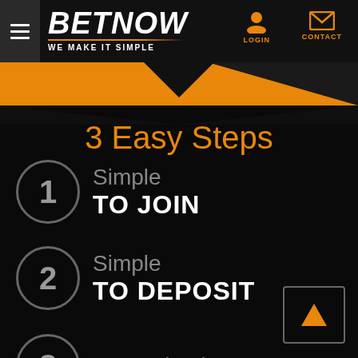BETNOW — WE MAKE IT SIMPLE — LOGIN — CONTACT
[Figure (infographic): Orange banner with black chevron/arrow point shape]
3 Easy Steps
1 Simple TO JOIN
2 Simple TO DEPOSIT
3 Even Simpler